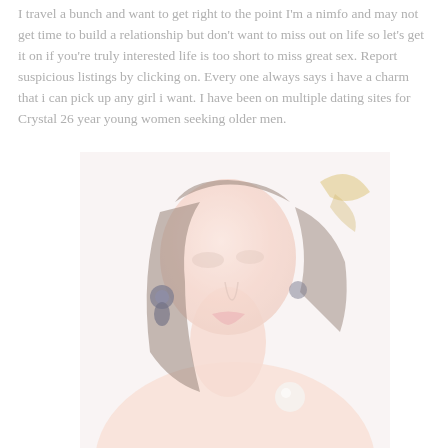I travel a bunch and want to get right to the point I'm a nimfo and may not get time to build a relationship but don't want to miss out on life so let's get it on if you're truly interested life is too short to miss great sex. Report suspicious listings by clicking on. Every one always says i have a charm that i can pick up any girl i want. I have been on multiple dating sites for Crystal 26 year young women seeking older men.
[Figure (photo): A woman with dark hair and large earrings, wearing a light-colored top, photographed from below in a faded/washed-out style.]